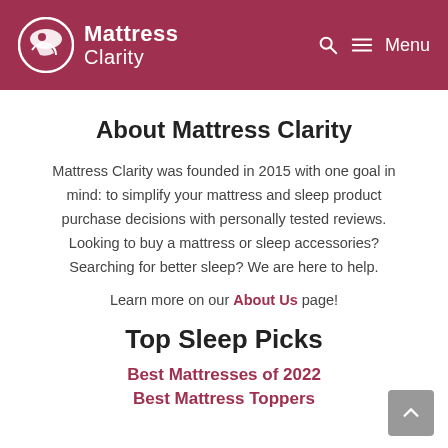Mattress Clarity — Menu
About Mattress Clarity
Mattress Clarity was founded in 2015 with one goal in mind: to simplify your mattress and sleep product purchase decisions with personally tested reviews. Looking to buy a mattress or sleep accessories? Searching for better sleep? We are here to help.
Learn more on our About Us page!
Top Sleep Picks
Best Mattresses of 2022
Best Mattress Toppers